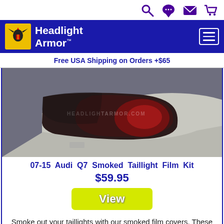[Figure (other): Top navigation icons: search (magnifier), chat bubble, envelope, shopping cart]
[Figure (logo): Headlight Armor logo with German eagle crest on dark blue header bar with hamburger menu button]
Free USA Shipping on Orders +$65
[Figure (photo): Photo of smoked taillights on a silver/white Audi Q7, showing darkened taillight covers with HEADLIGHTARMOR.COM watermark]
07-15 Audi Q7 Smoked Taillight Film Kit
$59.95
[Figure (other): Yellow 'View' button]
Smoke out your taillights with our smoked film covers. These are manufactured to fit your